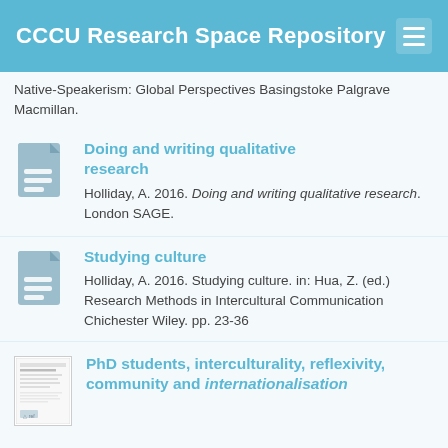CCCU Research Space Repository
Native-Speakerism: Global Perspectives Basingstoke Palgrave Macmillan.
Doing and writing qualitative research
Holliday, A. 2016. Doing and writing qualitative research. London SAGE.
Studying culture
Holliday, A. 2016. Studying culture. in: Hua, Z. (ed.) Research Methods in Intercultural Communication Chichester Wiley. pp. 23-36
PhD students, interculturality, reflexivity, community and internationalisation